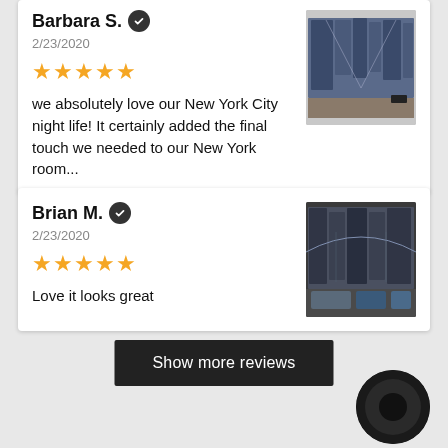Barbara S. [verified] 2/23/2020 ★★★★★ we absolutely love our New York City night life! It certainly added the final touch we needed to our New York room...
[Figure (photo): Multi-panel canvas wall art showing New York City night scene with bridge and skyline, displayed on a wall]
Brian M. [verified] 2/23/2020 ★★★★★ Love it looks great
[Figure (photo): Multi-panel canvas wall art showing a city bridge at night, displayed on a wall above a couch with blue pillows]
Show more reviews
[Figure (photo): Dark circular floating action button or product thumbnail in bottom right corner]